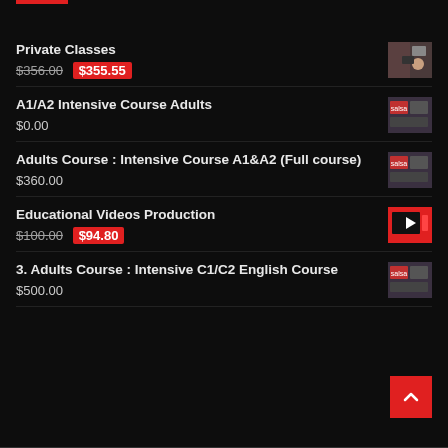Private Classes
$356.00  $355.55
A1/A2 Intensive Course Adults
$0.00
Adults Course : Intensive Course A1&A2 (Full course)
$360.00
Educational Videos Production
$100.00  $94.80
3. Adults Course : Intensive C1/C2 English Course
$500.00